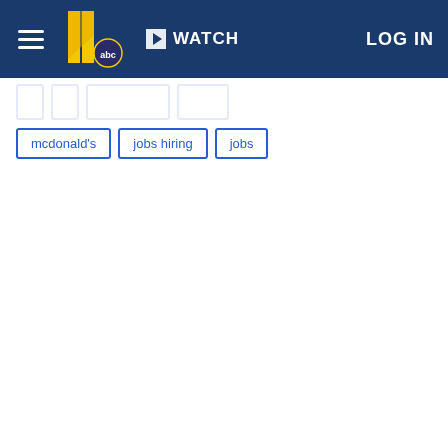WATCH | LOG IN
mcdonald's
jobs hiring
jobs